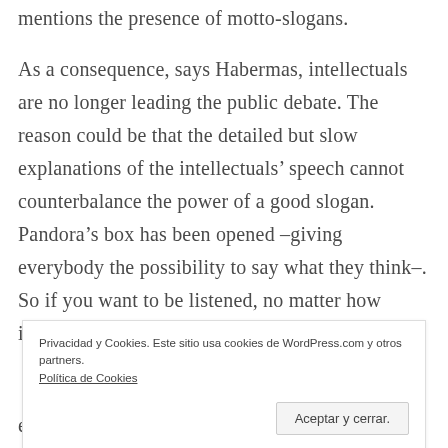mentions the presence of motto-slogans.
As a consequence, says Habermas, intellectuals are no longer leading the public debate. The reason could be that the detailed but slow explanations of the intellectuals' speech cannot counterbalance the power of a good slogan. Pandora's box has been opened –giving everybody the possibility to say what they think–. So if you want to be listened, no matter how interesting your information may be,
Privacidad y Cookies. Este sitio usa cookies de WordPress.com y otros partners. Política de Cookies
Aceptar y cerrar.
enough to listen to you.